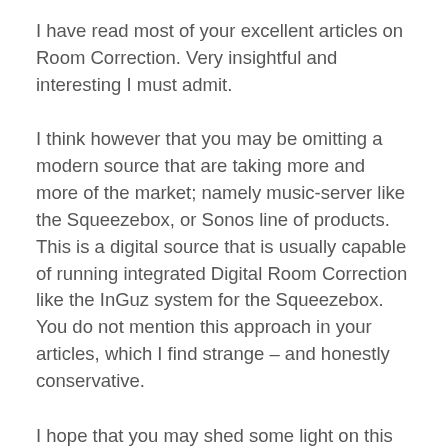I have read most of your excellent articles on Room Correction. Very insightful and interesting I must admit.
I think however that you may be omitting a modern source that are taking more and more of the market; namely music-server like the Squeezebox, or Sonos line of products. This is a digital source that is usually capable of running integrated Digital Room Correction like the InGuz system for the Squeezebox. You do not mention this approach in your articles, which I find strange – and honestly conservative.
I hope that you may shed some light on this direction of Room Correction since...